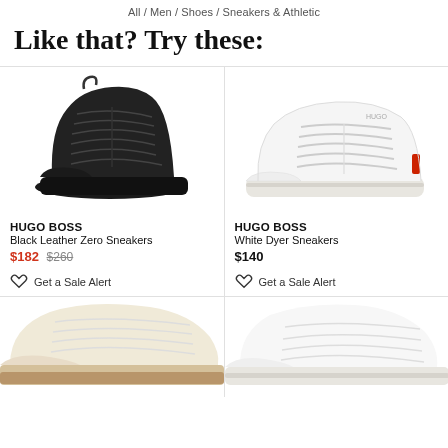All / Men / Shoes / Sneakers & Athletic
Like that? Try these:
[Figure (photo): Hugo Boss Black Leather Zero Sneakers - black high-top sneaker on white background]
HUGO BOSS
Black Leather Zero Sneakers
$182 $260
Get a Sale Alert
[Figure (photo): Hugo Boss White Dyer Sneakers - white low-top sneaker on white background]
HUGO BOSS
White Dyer Sneakers
$140
Get a Sale Alert
[Figure (photo): Partial view of a cream/tan low-top sneaker (bottom left)]
[Figure (photo): Partial view of a white sneaker (bottom right)]